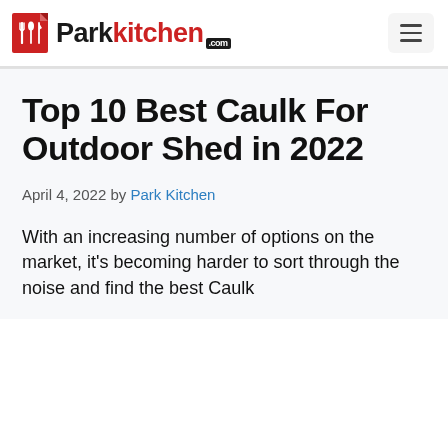Parkkitchen.com
Top 10 Best Caulk For Outdoor Shed in 2022
April 4, 2022 by Park Kitchen
With an increasing number of options on the market, it's becoming harder to sort through the noise and find the best Caulk